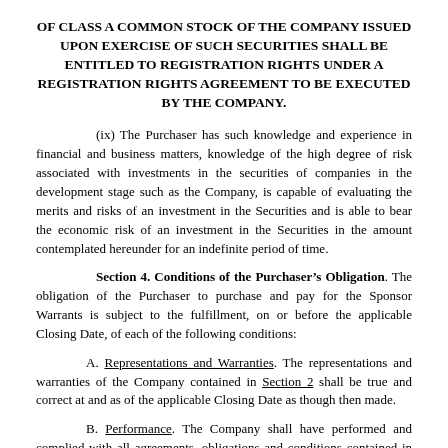OF CLASS A COMMON STOCK OF THE COMPANY ISSUED UPON EXERCISE OF SUCH SECURITIES SHALL BE ENTITLED TO REGISTRATION RIGHTS UNDER A REGISTRATION RIGHTS AGREEMENT TO BE EXECUTED BY THE COMPANY.
(ix) The Purchaser has such knowledge and experience in financial and business matters, knowledge of the high degree of risk associated with investments in the securities of companies in the development stage such as the Company, is capable of evaluating the merits and risks of an investment in the Securities and is able to bear the economic risk of an investment in the Securities in the amount contemplated hereunder for an indefinite period of time.
Section 4. Conditions of the Purchaser’s Obligation. The obligation of the Purchaser to purchase and pay for the Sponsor Warrants is subject to the fulfillment, on or before the applicable Closing Date, of each of the following conditions:
A. Representations and Warranties. The representations and warranties of the Company contained in Section 2 shall be true and correct at and as of the applicable Closing Date as though then made.
B. Performance. The Company shall have performed and complied with all agreements, obligations and conditions contained in this Agreement that are required to be performed or complied with by it on or before the applicable Closing Date.